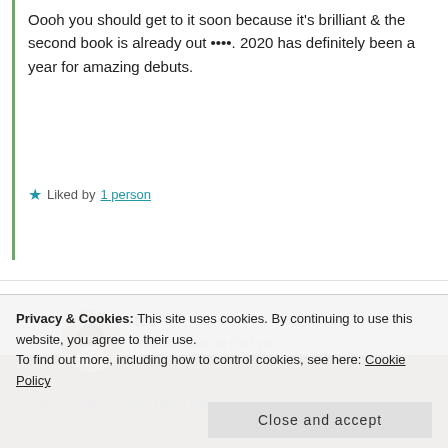Oooh you should get to it soon because it's brilliant & the second book is already out ••••. 2020 has definitely been a year for amazing debuts.
★ Liked by 1 person
REPLY
tee
Nov 30, 2020 at 6:03 pm
Oh yeah I will probably start it this week!
Privacy & Cookies: This site uses cookies. By continuing to use this website, you agree to their use. To find out more, including how to control cookies, see here: Cookie Policy
Close and accept